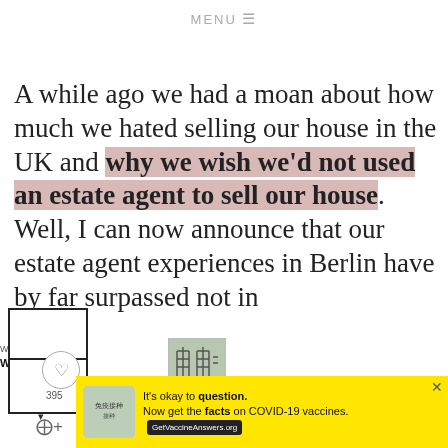MENU ☰
A while ago we had a moan about how much we hated selling our house in the UK and why we wish we'd not used an estate agent to sell our house. Well, I can now announce that our estate agent experiences in Berlin have by far surpassed not in
[Figure (screenshot): Social sharing sidebar UI with heart icon showing 395 likes, share button, and two bordered boxes overlaying text]
[Figure (screenshot): WHAT'S NEXT arrow with thumbnail image labeled We're Back!]
[Figure (screenshot): Yellow advertisement banner: It's okay to question. Now get the facts on COVID-19 vaccines. GetVaccineAnswers.org]